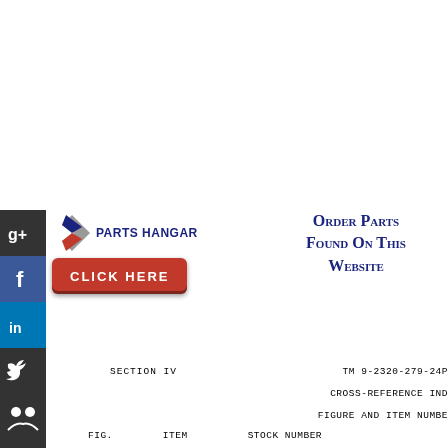[Figure (logo): Parts Hangar logo with Google+ social icon, flag/wing graphic, brand name text, and red CLICK HERE button]
Order Parts Found On This Website
SECTION IV
TM 9-2320-279-24P
CROSS-REFERENCE IND
FIGURE AND ITEM NUMBE
| FIG. | ITEM | STOCK NUMBER |
| --- | --- | --- |